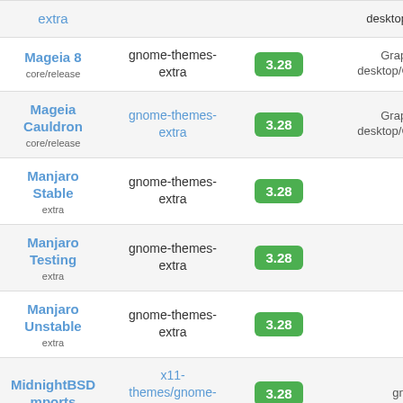| Distribution | Package | Version | Category |
| --- | --- | --- | --- |
| Mageia 8 core/release | gnome-themes-extra | 3.28 | Graphical desktop/GNO |
| Mageia Cauldron core/release | gnome-themes-extra | 3.28 | Graphical desktop/GNO |
| Manjaro Stable extra | gnome-themes-extra | 3.28 | - |
| Manjaro Testing extra | gnome-themes-extra | 3.28 | - |
| Manjaro Unstable extra | gnome-themes-extra | 3.28 | - |
| MidnightBSD mports | x11-themes/gnome-themes-extra | 3.28 | gnome |